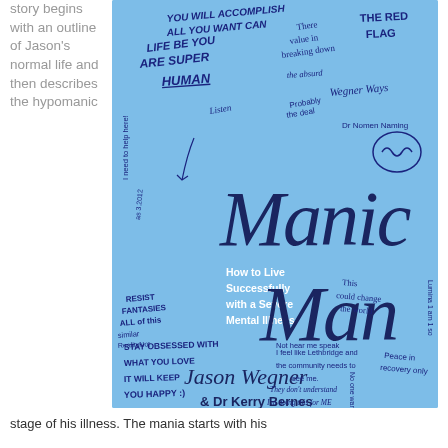story begins with an outline of Jason's normal life and then describes the hypomanic
[Figure (illustration): Book cover of 'Manic Man: How to Live Successfully with a Severe Mental Illness' by Jason Wegner & Dr Kerry Bernes. Light blue background with handwritten scrawled notes and doodles overlaid. Large stylized handwritten title 'Manic Man' in dark navy ink. Subtitle 'How to Live Successfully with a Severe Mental Illness' in white bold text. Author names 'Jason Wegner & Dr Kerry Bernes' at the bottom.]
stage of his illness. The mania starts with his